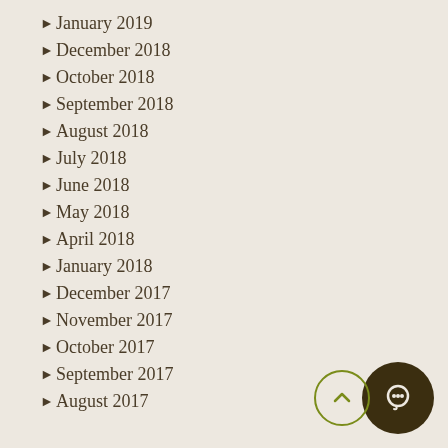January 2019
December 2018
October 2018
September 2018
August 2018
July 2018
June 2018
May 2018
April 2018
January 2018
December 2017
November 2017
October 2017
September 2017
August 2017